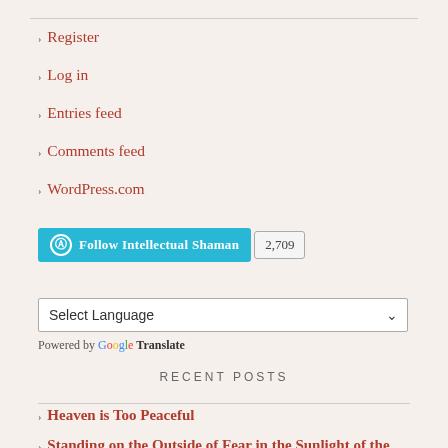Register
Log in
Entries feed
Comments feed
WordPress.com
[Figure (other): Follow Intellectual Shaman WordPress follow button with follower count 2,709]
[Figure (other): Google Translate widget with Select Language dropdown]
RECENT POSTS
Heaven is Too Peaceful
Standing on the Outside of Fear in the Sunlight of the